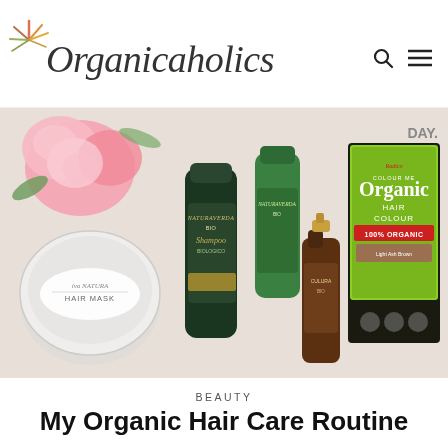Organicaholics
[Figure (photo): Flat lay of organic hair care products on white surface: a hair mask tin (Iva Natura), Naturaverda shampoo and conditioner bottles in dark green, a brown hair oil spray bottle, and a Radico Colour Me Organic Hair Colour package in black and green, with pink roses in the background.]
BEAUTY
My Organic Hair Care Routine